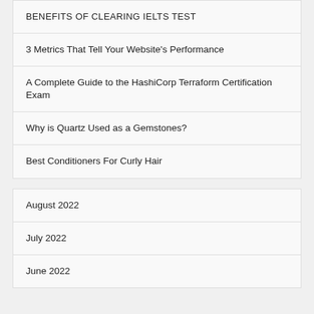BENEFITS OF CLEARING IELTS TEST
3 Metrics That Tell Your Website's Performance
A Complete Guide to the HashiCorp Terraform Certification Exam
Why is Quartz Used as a Gemstones?
Best Conditioners For Curly Hair
August 2022
July 2022
June 2022